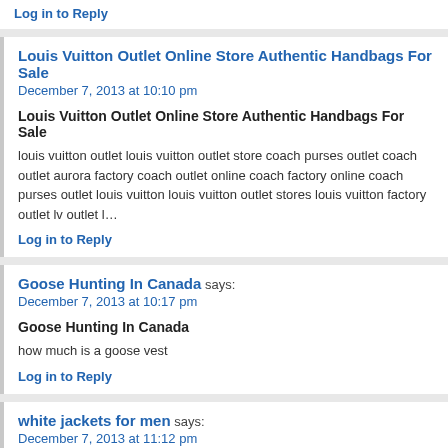Log in to Reply
Louis Vuitton Outlet Online Store Authentic Handbags For Sale
December 7, 2013 at 10:10 pm
Louis Vuitton Outlet Online Store Authentic Handbags For Sale
louis vuitton outlet louis vuitton outlet store coach purses outlet coach outlet aurora factory coach outlet online coach factory online coach purses outlet louis vuitton louis vuitton outlet stores louis vuitton factory outlet lv outlet l…
Log in to Reply
Goose Hunting In Canada says:
December 7, 2013 at 10:17 pm
Goose Hunting In Canada
how much is a goose vest
Log in to Reply
white jackets for men says:
December 7, 2013 at 11:12 pm
white jackets for men
canada goose lodge down hoody xxl
Log in to Reply